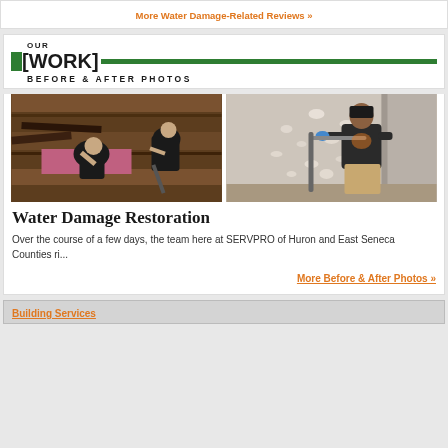More Water Damage-Related Reviews »
[Figure (illustration): Our Work Before & After Photos header with green bar and brackets]
[Figure (photo): Before photo: workers removing damaged hardwood flooring]
[Figure (photo): After photo: worker in dark shirt and tan pants applying compound to drywall with blue gloves]
Water Damage Restoration
Over the course of a few days, the team here at SERVPRO of Huron and East Seneca Counties ri...
More Before & After Photos »
Building Services